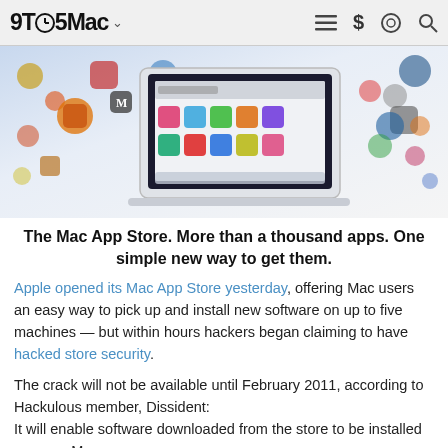9TO5Mac
[Figure (screenshot): Mac App Store promotional image showing a MacBook Air with app icons flying around it]
The Mac App Store. More than a thousand apps. One simple new way to get them.
Apple opened its Mac App Store yesterday, offering Mac users an easy way to pick up and install new software on up to five machines — but within hours hackers began claiming to have hacked store security.
The crack will not be available until February 2011, according to Hackulous member, Dissident: It will enable software downloaded from the store to be installed on more Macs.
"We don't want to release kickback as soon as the [Mac App] Store gets released. I have a few